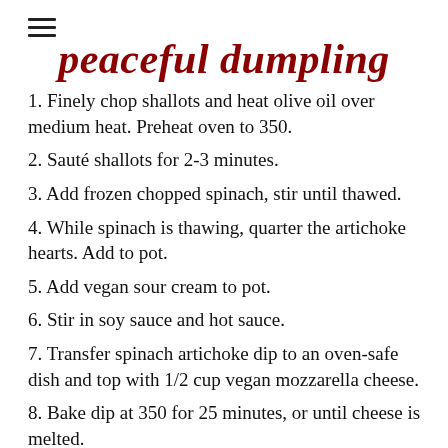≡
peaceful dumpling
1. Finely chop shallots and heat olive oil over medium heat. Preheat oven to 350.
2. Sauté shallots for 2-3 minutes.
3. Add frozen chopped spinach, stir until thawed.
4. While spinach is thawing, quarter the artichoke hearts. Add to pot.
5. Add vegan sour cream to pot.
6. Stir in soy sauce and hot sauce.
7. Transfer spinach artichoke dip to an oven-safe dish and top with 1/2 cup vegan mozzarella cheese.
8. Bake dip at 350 for 25 minutes, or until cheese is melted.